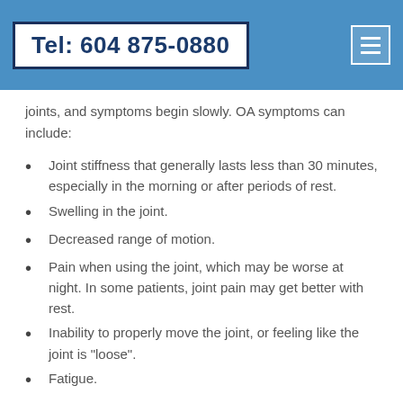Tel: 604 875-0880
joints, and symptoms begin slowly. OA symptoms can include:
Joint stiffness that generally lasts less than 30 minutes, especially in the morning or after periods of rest.
Swelling in the joint.
Decreased range of motion.
Pain when using the joint, which may be worse at night. In some patients, joint pain may get better with rest.
Inability to properly move the joint, or feeling like the joint is "loose".
Fatigue.